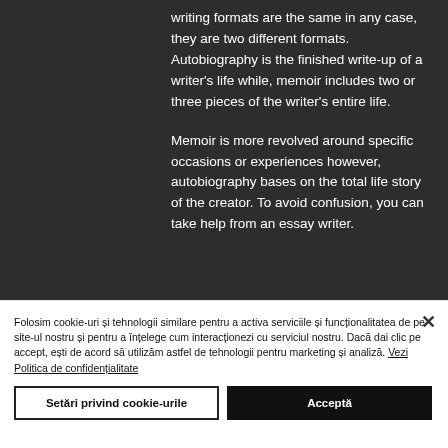writing formats are the same in any case, they are two different formats. Autobiography is the finished write-up of a writer's life while, memoir includes two or three pieces of the writer's entire life.

Memoir is more revolved around specific occasions or experiences however, autobiography bases on the total life story of the creator. To avoid confusion, you can take help from an essay writer.
Folosim cookie-uri și tehnologii similare pentru a activa serviciile și funcționalitatea de pe site-ul nostru și pentru a înțelege cum interacționezi cu serviciul nostru. Dacă dai clic pe accept, ești de acord să utilizăm astfel de tehnologii pentru marketing și analiză. Vezi Politica de confidențialitate
Setări privind cookie-urile
Acceptă